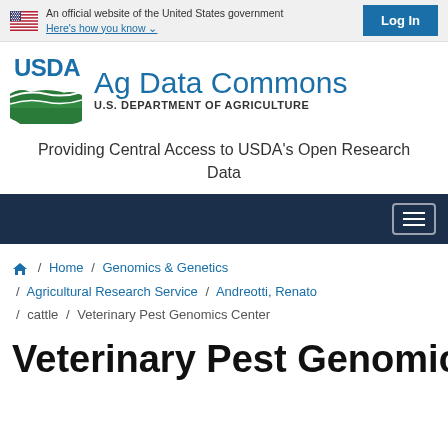An official website of the United States government Here's how you know
[Figure (logo): USDA logo with green landscape and blue text, next to Ag Data Commons site title and U.S. Department of Agriculture subtitle]
Providing Central Access to USDA's Open Research Data
Home / Genomics & Genetics / Agricultural Research Service / Andreotti, Renato / cattle / Veterinary Pest Genomics Center
Veterinary Pest Genomics